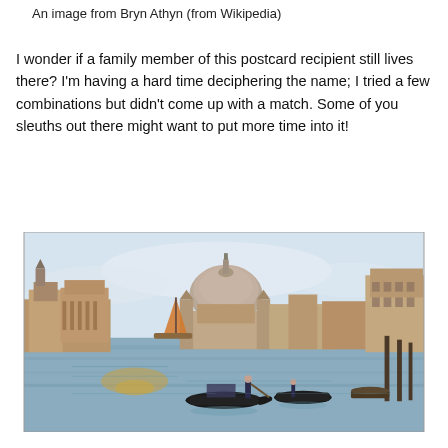An image from Bryn Athyn (from Wikipedia)
I wonder if a family member of this postcard recipient still lives there? I'm having a hard time deciphering the name; I tried a few combinations but didn't come up with a match. Some of you sleuths out there might want to put more time into it!
[Figure (illustration): A vintage postcard-style painting of Venice, Italy, showing the Grand Canal with the domed Santa Maria della Salute basilica in the background, gondolas on the water in the foreground, and historic Venetian buildings along the right bank.]